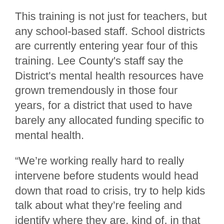This training is not just for teachers, but any school-based staff. School districts are currently entering year four of this training. Lee County's staff say the District's mental health resources have grown tremendously in those four years, for a district that used to have barely any allocated funding specific to mental health.
“We’re working really hard to really intervene before students would head down that road to crisis, try to help kids talk about what they’re feeling and identify where they are, kind of, in that continuum of mental health and wellness, so that we can help them early on,” Brooks said. “Because none of us want a child to be in that state of crisis.”
The mental health advisors with Lee County say the